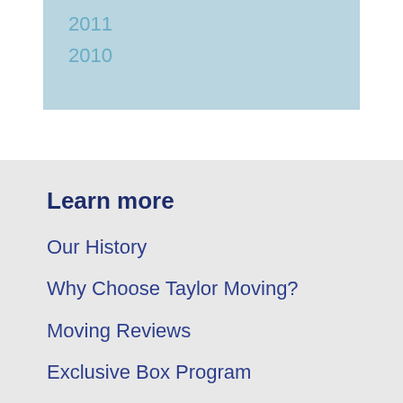2011
2010
Learn more
Our History
Why Choose Taylor Moving?
Moving Reviews
Exclusive Box Program
Job Opportunities
Community Involvement
Moving Overseas